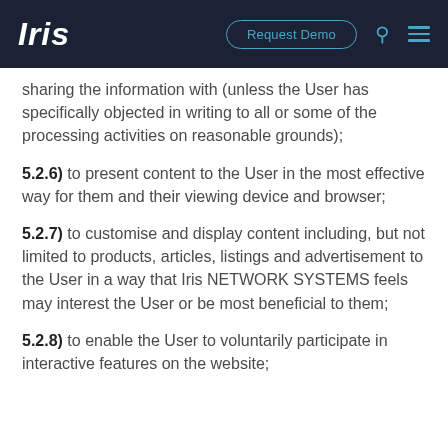Iris | Request Demo
sharing the information with (unless the User has specifically objected in writing to all or some of the processing activities on reasonable grounds);
5.2.6) to present content to the User in the most effective way for them and their viewing device and browser;
5.2.7) to customise and display content including, but not limited to products, articles, listings and advertisement to the User in a way that Iris NETWORK SYSTEMS feels may interest the User or be most beneficial to them;
5.2.8) to enable the User to voluntarily participate in interactive features on the website;